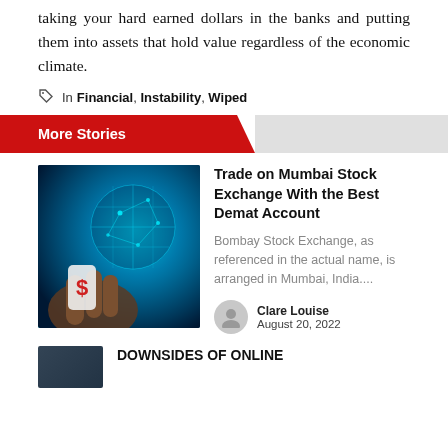taking your hard earned dollars in the banks and putting them into assets that hold value regardless of the economic climate.
In Financial, Instability, Wiped
More Stories
[Figure (photo): Hand holding smartphone with glowing digital network globe overlay on dark blue background]
Trade on Mumbai Stock Exchange With the Best Demat Account
Bombay Stock Exchange, as referenced in the actual name, is arranged in Mumbai, India....
Clare Louise
August 20, 2022
DOWNSIDES OF ONLINE